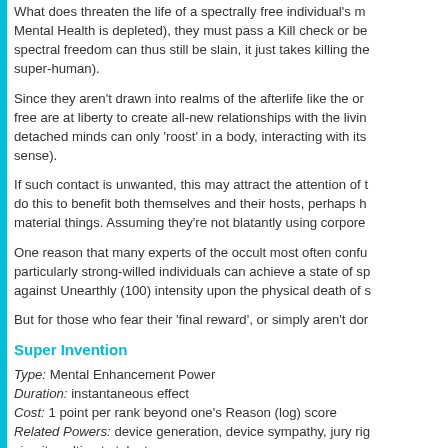What does threaten the life of a spectrally free individual's Mental Health is depleted), they must pass a Kill check or be spectral freedom can thus still be slain, it just takes killing the super-human).
Since they aren't drawn into realms of the afterlife like the ordinary dead, the spectrally free are at liberty to create all-new relationships with the living. Although these detached minds can only 'roost' in a body, interacting with its senses (in a limited sense).
If such contact is unwanted, this may attract the attention of those who do this to benefit both themselves and their hosts, perhaps helping them with material things. Assuming they're not blatantly using corporeal...
One reason that many experts of the occult most often confuse is that particularly strong-willed individuals can achieve a state of sp... against Unearthly (100) intensity upon the physical death of s...
But for those who fear their 'final reward', or simply aren't don...
Super Invention
Type: Mental Enhancement Power
Duration: instantaneous effect
Cost: 1 point per rank beyond one's Reason (log) score
Related Powers: device generation, device sympathy, jury rig circuitry, ultimate talent.
The character with this ability is something of a technological...